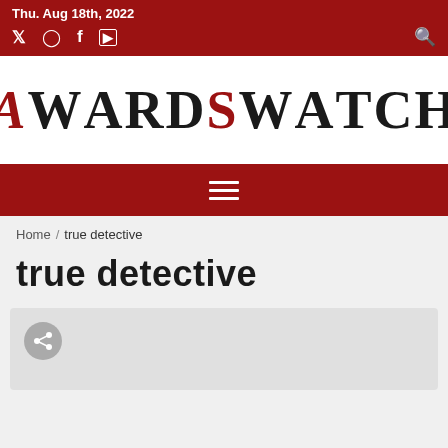Thu. Aug 18th, 2022
[Figure (logo): AwardsWatch logo in bold serif font with red A and red S in AWARDS, black WARDS and WATCH text]
Home / true detective
true detective
[Figure (other): Article card placeholder with share icon button]